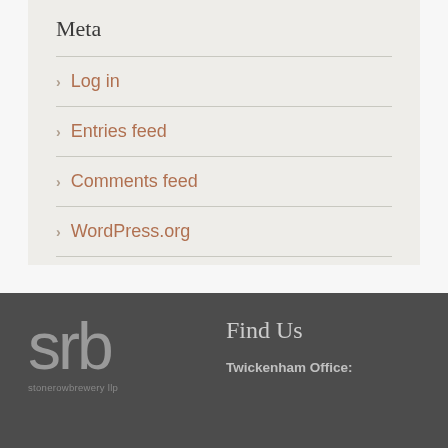Meta
Log in
Entries feed
Comments feed
WordPress.org
[Figure (logo): srb stonerowbrewery llp logo in grey on dark background]
Find Us
Twickenham Office: